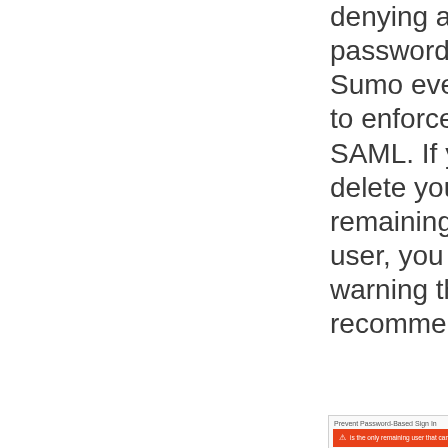denying all users password access to Sumo even if you want to enforce log in by SAML. If you attempt to delete your last remaining allowlisted user, you will receive a warning that this is not a recommended practice:
[Figure (screenshot): Screenshot of 'Prevent Password-Based Sign In' dialog with an orange warning bar stating a user is the only remaining user that can sign in to Sumo Logic with their password.]